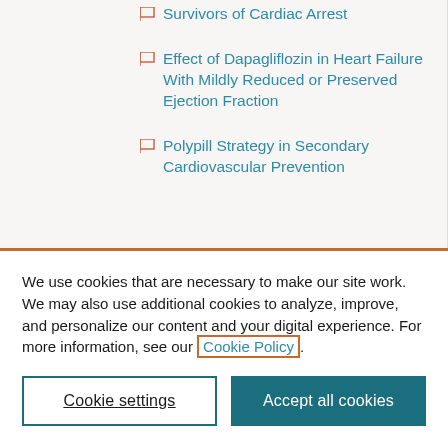Effect of Dapagliflozin in Heart Failure With Mildly Reduced or Preserved Ejection Fraction
Polypill Strategy in Secondary Cardiovascular Prevention
We use cookies that are necessary to make our site work. We may also use additional cookies to analyze, improve, and personalize our content and your digital experience. For more information, see our Cookie Policy.
Cookie settings | Accept all cookies